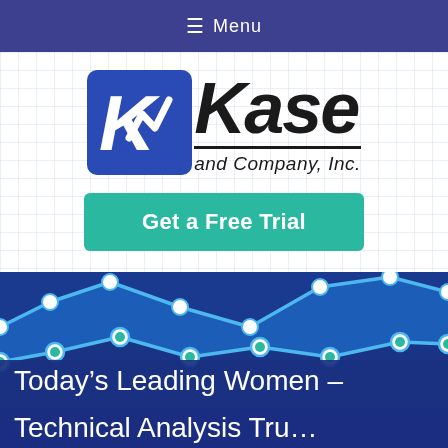Menu
[Figure (logo): Kase and Company, Inc. logo with blue K emblem and italic text]
Get a Free Trial
[Figure (infographic): Blue line chart area with circular data point markers on dark blue background]
Today's Leading Women –